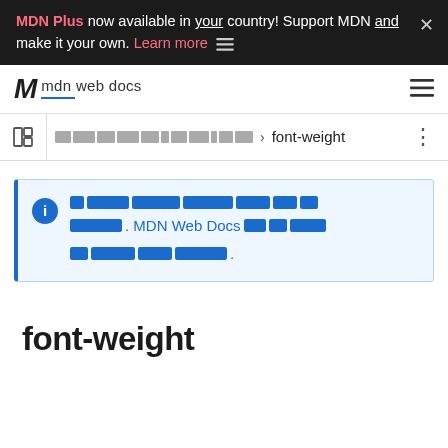MDN Plus now available in your country! Support MDN and make it your own. Learn more
[Figure (screenshot): MDN Web Docs navigation bar with logo and hamburger menu]
[Figure (screenshot): Breadcrumb navigation bar with sidebar toggle icon, redacted breadcrumb items, arrow, font-weight text, and vertical dots menu]
[redacted notice text with MDN Web Docs mention]
font-weight